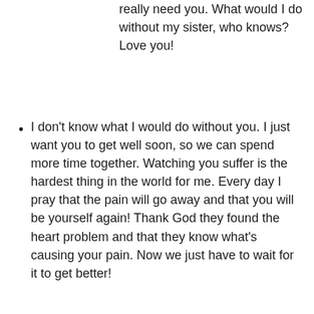really need you. What would I do without my sister, who knows? Love you!
I don't know what I would do without you. I just want you to get well soon, so we can spend more time together. Watching you suffer is the hardest thing in the world for me. Every day I pray that the pain will go away and that you will be yourself again! Thank God they found the heart problem and that they know what's causing your pain. Now we just have to wait for it to get better!